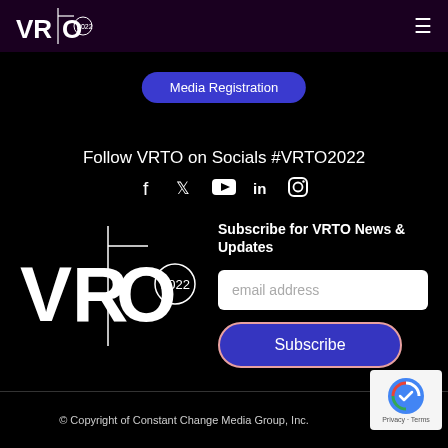[Figure (logo): VRTO 2022 logo in white on dark purple header background]
≡
Media Registration
Follow VRTO on Socials #VRTO2022
[Figure (illustration): Social media icons: Facebook, Twitter, YouTube, LinkedIn, Instagram]
Subscribe for VRTO News & Updates
[Figure (logo): VRTO 2022 large logo in white]
email address
Subscribe
© Copyright of Constant Change Media Group, Inc.
[Figure (other): reCAPTCHA badge with Privacy - Terms]